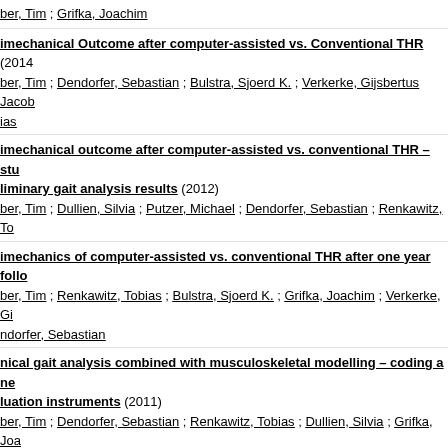ber, Tim ; Grifka, Joachim
imechanical Outcome after computer-assisted vs. Conventional THR (2014)
ber, Tim ; Dendorfer, Sebastian ; Bulstra, Sjoerd K. ; Verkerke, Gijsbertus Jacob ; ias
imechanical outcome after computer-assisted vs. conventional THR –stu liminary gait analysis results (2012)
ber, Tim ; Dullien, Silvia ; Putzer, Michael ; Dendorfer, Sebastian ; Renkawitz, To
imechanics of computer-assisted vs. conventional THR after one year follo ber, Tim ; Renkawitz, Tobias ; Bulstra, Sjoerd K. ; Grifka, Joachim ; Verkerke, Gi ndorfer, Sebastian
nical gait analysis combined with musculoskeletal modelling – coding a ne luation instruments (2011)
ber, Tim ; Dendorfer, Sebastian ; Renkawitz, Tobias ; Dullien, Silvia ; Grifka, Joa
es Computer-Assisted Femur First THR Improve Musculoskeletal Loading 15)
ber, Tim A. ; Dendorfer, Sebastian ; Grifka, Joachim ; Verkerke, Gijsbertus Jacob ; ias
e impact of standard combined anteversion definitions on gait and clinical e year after total hip arthroplasty (2015)